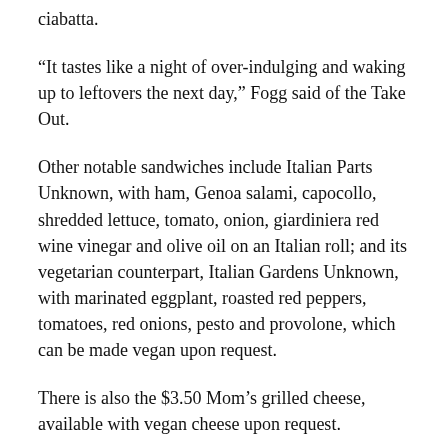ciabatta.
“It tastes like a night of over-indulging and waking up to leftovers the next day,” Fogg said of the Take Out.
Other notable sandwiches include Italian Parts Unknown, with ham, Genoa salami, capocollo, shredded lettuce, tomato, onion, giardiniera red wine vinegar and olive oil on an Italian roll; and its vegetarian counterpart, Italian Gardens Unknown, with marinated eggplant, roasted red peppers, tomatoes, red onions, pesto and provolone, which can be made vegan upon request.
There is also the $3.50 Mom’s grilled cheese, available with vegan cheese upon request.
Fogg plans to eventually run daily specials as well as an evening menu. All sandwiches are served with a choice of sides and a lift beverage and bread.